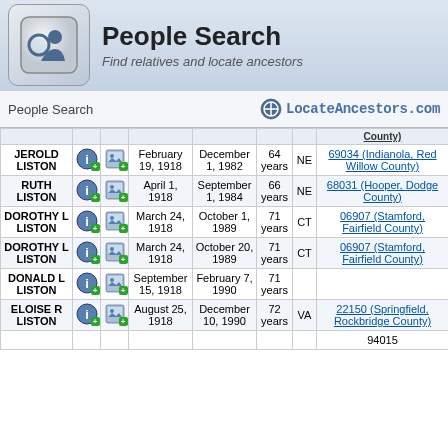People Search
Find relatives and locate ancestors
People Search  LocateAncestors.com
|  |  |  | Born | Died | Age | State | County |
| --- | --- | --- | --- | --- | --- | --- | --- |
| JEROLD LISTON |  |  | February 19, 1918 | December 1, 1982 | 64 years | NE | 69034 (Indianola, Red Willow County) |
| RUTH LISTON |  |  | April 1, 1918 | September 1, 1984 | 66 years | NE | 68031 (Hooper, Dodge County) |
| DOROTHY L LISTON |  |  | March 24, 1918 | October 1, 1989 | 71 years | CT | 06907 (Stamford, Fairfield County) |
| DOROTHY L LISTON |  |  | March 24, 1918 | October 20, 1989 | 71 years | CT | 06907 (Stamford, Fairfield County) |
| DONALD L LISTON |  |  | September 15, 1918 | February 7, 1990 | 71 years |  |  |
| ELOISE R LISTON |  |  | August 25, 1918 | December 10, 1990 | 72 years | VA | 22150 (Springfield, Rockbridge County) |